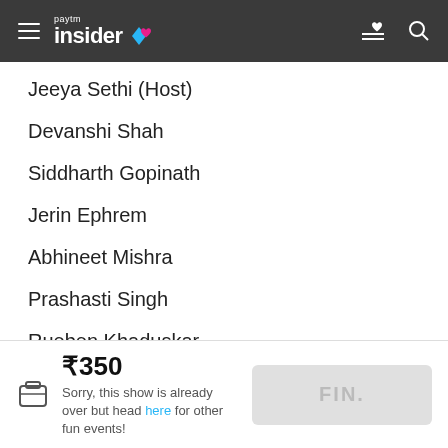Paytm Insider
Jeeya Sethi (Host)
Devanshi Shah
Siddharth Gopinath
Jerin Ephrem
Abhineet Mishra
Prashasti Singh
Rueben Khaduskar
Siddharth Dudeja
Sumukhi Suresh
Venue
₹350 Sorry, this show is already over but head here for other fun events! FIN.